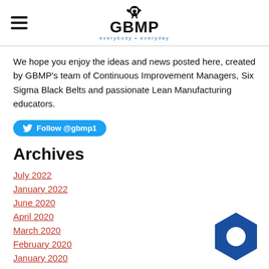GBMP everybody • everyday
We hope you enjoy the ideas and news posted here,  created by GBMP's team of Continuous Improvement Managers, Six Sigma Black Belts and passionate Lean Manufacturing educators.
[Figure (logo): Twitter Follow @gbmp1 button]
Archives
July 2022
January 2022
June 2020
April 2020
March 2020
February 2020
January 2020
[Figure (logo): Blue hexagon nut icon in lower right corner]